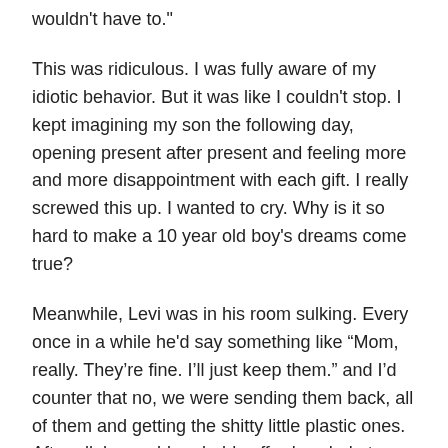wouldn't have to."
This was ridiculous. I was fully aware of my idiotic behavior. But it was like I couldn't stop. I kept imagining my son the following day, opening present after present and feeling more and more disappointment with each gift. I really screwed this up. I wanted to cry. Why is it so hard to make a 10 year old boy's dreams come true?
Meanwhile, Levi was in his room sulking. Every once in a while he'd say something like “Mom, really. They’re fine. I’ll just keep them.” and I’d counter that no, we were sending them back, all of them and getting the shitty little plastic ones. After all, he could probably afford a whole town of those mini Harry Potter people in exchange for the ones I’d bought.